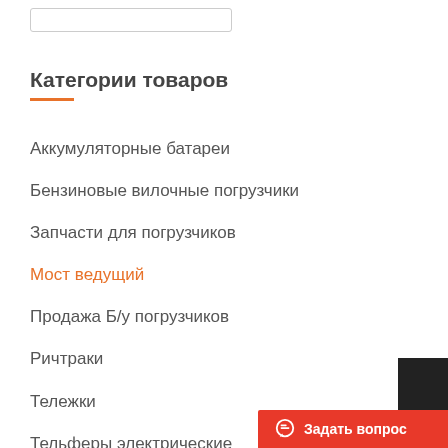Категории товаров
Аккумуляторные батареи
Бензиновые вилочные погрузчики
Запчасти для погрузчиков
Мост ведущий
Продажа Б/у погрузчиков
Ричтраки
Тележки
Тельферы электрические